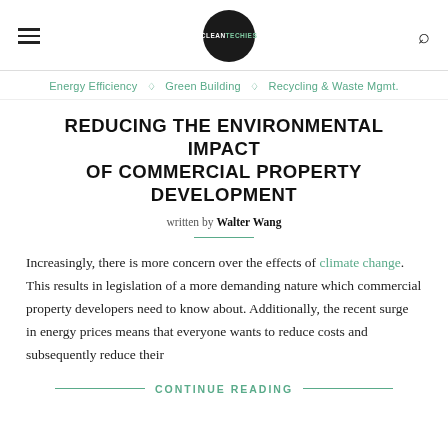CLEANTECHIES — Navigation header with logo and search
Energy Efficiency ◇ Green Building ◇ Recycling & Waste Mgmt.
REDUCING THE ENVIRONMENTAL IMPACT OF COMMERCIAL PROPERTY DEVELOPMENT
written by Walter Wang
Increasingly, there is more concern over the effects of climate change. This results in legislation of a more demanding nature which commercial property developers need to know about. Additionally, the recent surge in energy prices means that everyone wants to reduce costs and subsequently reduce their
CONTINUE READING